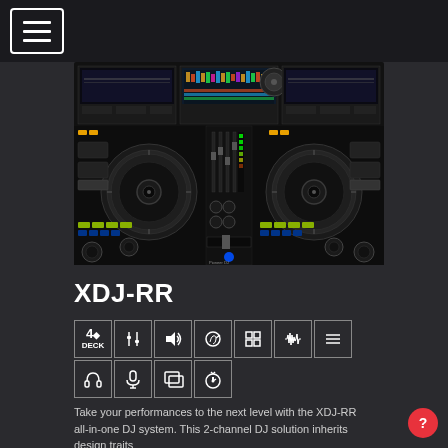Navigation menu header bar with hamburger icon
[Figure (photo): Pioneer DJ XDJ-RR all-in-one DJ controller product photo, showing two jog wheels, mixer section, and screen display on a dark background]
XDJ-RR
[Figure (infographic): Row of feature icons in bordered boxes: 4-deck, equalizer/mixer, speaker/volume, DJ headphone with hand, grid/effect pads, waveform, list, headphones, microphone, screen/display, and a settings/tempo dial icon]
Take your performances to the next level with the XDJ-RR all-in-one DJ system. This 2-channel DJ solution inherits design traits and powerful features from professional Pioneer DJ CDJ equipment